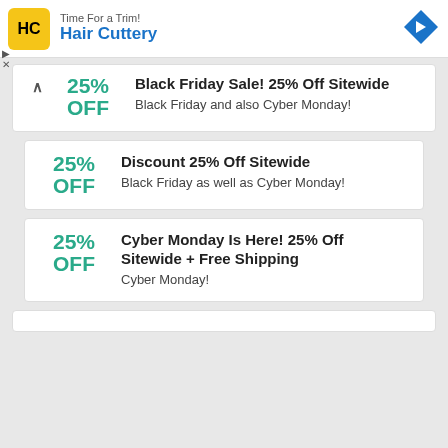[Figure (screenshot): Hair Cuttery advertisement banner with logo, brand name, and navigation arrow]
25% OFF — Black Friday Sale! 25% Off Sitewide
Black Friday and also Cyber Monday!
25% OFF — Discount 25% Off Sitewide
Black Friday as well as Cyber Monday!
25% OFF — Cyber Monday Is Here! 25% Off Sitewide + Free Shipping
Cyber Monday!